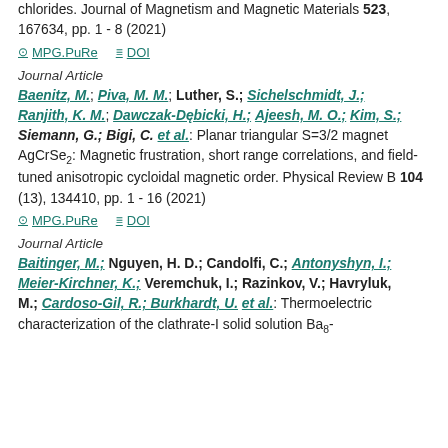chlorides. Journal of Magnetism and Magnetic Materials 523, 167634, pp. 1 - 8 (2021)
MPG.PuRe   DOI
Journal Article
Baenitz, M.; Piva, M. M.; Luther, S.; Sichelschmidt, J.; Ranjith, K. M.; Dawczak-Dębicki, H.; Ajeesh, M. O.; Kim, S.; Siemann, G.; Bigi, C. et al.: Planar triangular S=3/2 magnet AgCrSe₂: Magnetic frustration, short range correlations, and field-tuned anisotropic cycloidal magnetic order. Physical Review B 104 (13), 134410, pp. 1 - 16 (2021)
MPG.PuRe   DOI
Journal Article
Baitinger, M.; Nguyen, H. D.; Candolfi, C.; Antonyshyn, I.; Meier-Kirchner, K.; Veremchuk, I.; Razinkov, V.; Havryluk, M.; Cardoso-Gil, R.; Burkhardt, U. et al.: Thermoelectric characterization of the clathrate-I solid solution Ba8-